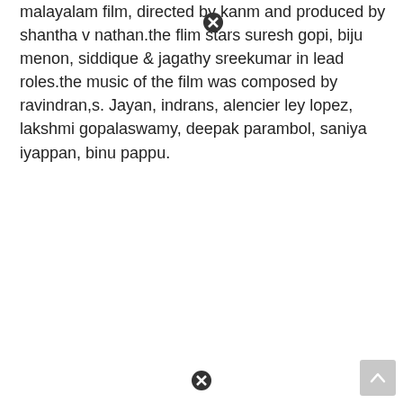malayalam film, directed by kanm and produced by shantha v nathan.the flim stars suresh gopi, biju menon, siddique & jagathy sreekumar in lead roles.the music of the film was composed by ravindran,s. Jayan, indrans, alencier ley lopez, lakshmi gopalaswamy, deepak parambol, saniya iyappan, binu pappu.